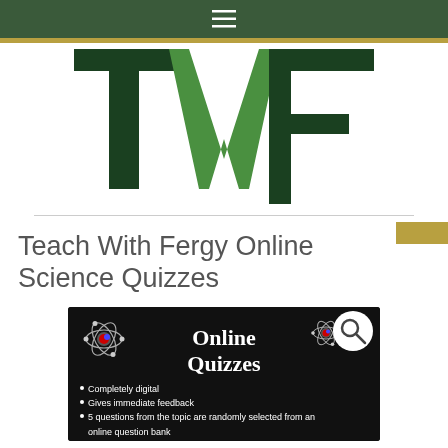≡
[Figure (logo): TWF logo — large dark green letters T, W, F with lighter green W in center]
Teach With Fergy Online Science Quizzes
[Figure (illustration): Black promotional banner for Online Quizzes with atom icons, search magnifier icon, text 'Online Quizzes', and bullet points: Completely digital, Gives immediate feedback, 5 questions from the topic are randomly selected from an online question bank]